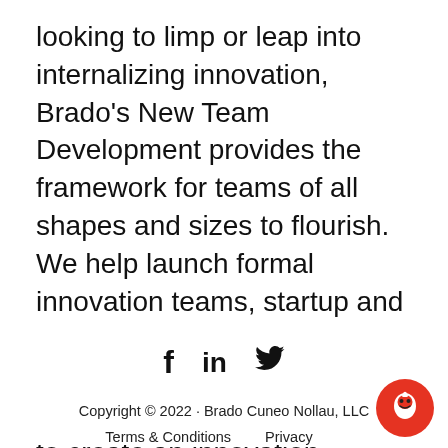looking to limp or leap into internalizing innovation, Brado's New Team Development provides the framework for teams of all shapes and sizes to flourish. We help launch formal innovation teams, startup and accelerator teams, and we design custom Innovation Labs and ad-hoc experiences to create an innovation ecosystem that is completely sustainable.
Copyright © 2022 · Brado Cuneo Nollau, LLC
Terms & Conditions   Privacy